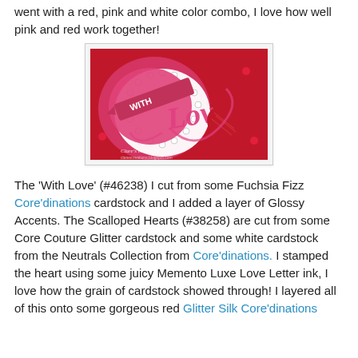went with a red, pink and white color combo, I love how well pink and red work together!
[Figure (photo): Close-up photo of a handmade Valentine's Day card featuring pink glitter 'With Love' script die-cut, scalloped white heart, red textured heart, and red sequins on a red background. Watermark reads 'Clare's creations'.]
The 'With Love' (#46238) I cut from some Fuchsia Fizz Core'dinations cardstock and I added a layer of Glossy Accents. The Scalloped Hearts (#38258) are cut from some Core Couture Glitter cardstock and some white cardstock from the Neutrals Collection from Core'dinations. I stamped the heart using some juicy Memento Luxe Love Letter ink, I love how the grain of cardstock showed through! I layered all of this onto some gorgeous red Glitter Silk Core'dinations